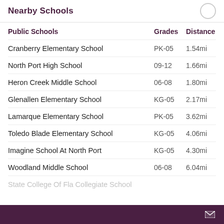Nearby Schools
| Public Schools | Grades | Distance |
| --- | --- | --- |
| Cranberry Elementary School | PK-05 | 1.54mi |
| North Port High School | 09-12 | 1.66mi |
| Heron Creek Middle School | 06-08 | 1.80mi |
| Glenallen Elementary School | KG-05 | 2.17mi |
| Lamarque Elementary School | PK-05 | 3.62mi |
| Toledo Blade Elementary School | KG-05 | 4.06mi |
| Imagine School At North Port | KG-05 | 4.30mi |
| Woodland Middle School | 06-08 | 6.04mi |
| State College Of Fla Collegiate School |  |  |